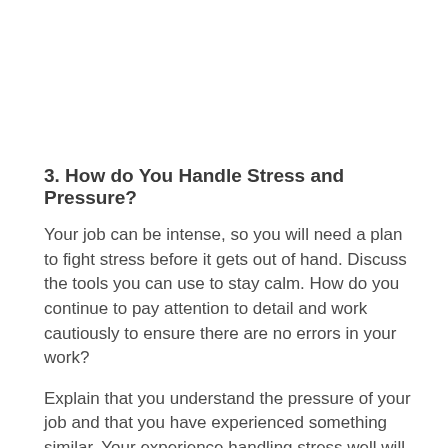3. How do You Handle Stress and Pressure?
Your job can be intense, so you will need a plan to fight stress before it gets out of hand. Discuss the tools you can use to stay calm. How do you continue to pay attention to detail and work cautiously to ensure there are no errors in your work?
Explain that you understand the pressure of your job and that you have experienced something similar. Your experience handling stress well will speak well of you.